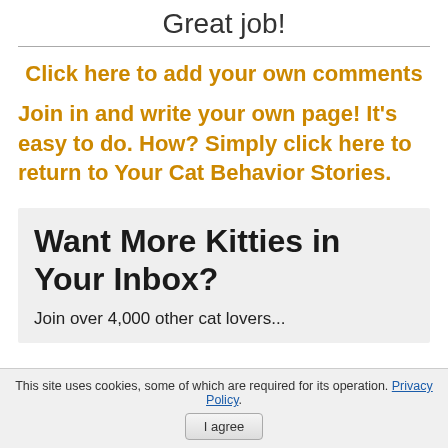Great job!
Click here to add your own comments
Join in and write your own page! It's easy to do. How? Simply click here to return to Your Cat Behavior Stories.
Want More Kitties in Your Inbox?
Join over 4,000 other cat lovers...
This site uses cookies, some of which are required for its operation. Privacy Policy.
I agree